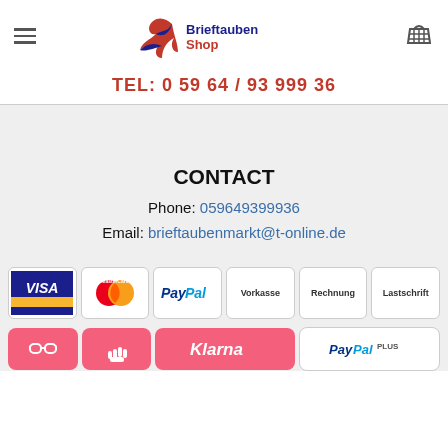[Figure (logo): BrieftaubenShop logo with stylized bird and text]
TEL: 0 59 64 / 93 999 36
CONTACT
Phone: 059649399936
Email: brieftaubenmarkt@t-online.de
[Figure (other): Payment method icons: VISA, MasterCard, PayPal, Vorkasse, Rechnung, Lastschrift]
[Figure (other): Klarna and PayPal PLUS payment badges at bottom]